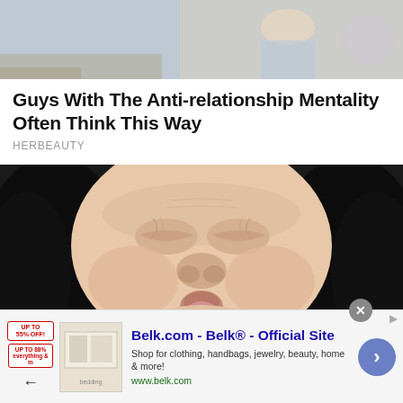[Figure (photo): Partial photo at top of page showing what appears to be a medical or everyday scene with muted blue and tan colors]
Guys With The Anti-relationship Mentality Often Think This Way
HERBEAUTY
[Figure (photo): Close-up photo of a person squishing their face with their hands, eyes tightly shut and lips pursed, with dark hair on sides]
11 Signs Your Perfectionism Is Getting Out Of...
[Figure (other): Advertisement banner for Belk.com - Belk Official Site. Shows store imagery thumbnail, ad text: Shop for clothing, handbags, jewelry, beauty, home & more! www.belk.com. Has close button and navigation arrow.]